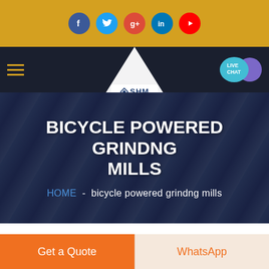[Figure (screenshot): Website screenshot showing SHM company page for 'Bicycle Powered Grindng Mills'. Top golden bar with social media icons (Facebook, Twitter, Google+, LinkedIn, YouTube). Dark navigation bar with hamburger menu, SHM logo, and Live Chat bubble. Dark hero section with title 'BICYCLE POWERED GRINDNG MILLS' and breadcrumb 'HOME - bicycle powered grindng mills'. White content area below with partial image strip. Bottom buttons: 'Get a Quote' (orange) and 'WhatsApp' (light/orange text).]